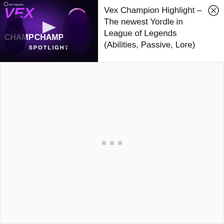[Figure (screenshot): Video thumbnail for 'VEX CHAMP SPOTLIGHT' showing the Vex champion from League of Legends with purple glowing text and character art on a dark background, with a play button in the center]
Vex Champion Highlight – The newest Yordle in League of Legends (Abilities, Passive, Lore)
[Figure (screenshot): Close button (X in a circle) in the top right corner of the notification panel]
[Figure (screenshot): White/light gray content area below the notification banner, showing three small gray loading dots in the center]